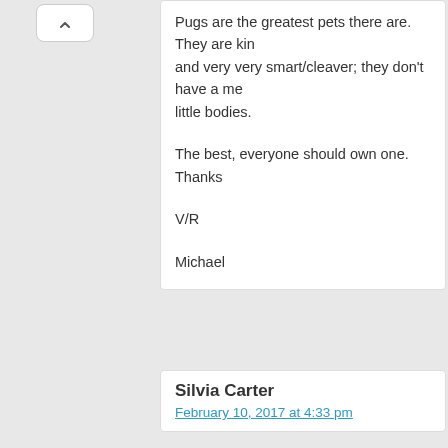Pugs are the greatest pets there are. They are kin and very very smart/cleaver; they don't have a me little bodies.

The best, everyone should own one. Thanks

V/R

Michael
Silvia Carter
February 10, 2017 at 4:33 pm